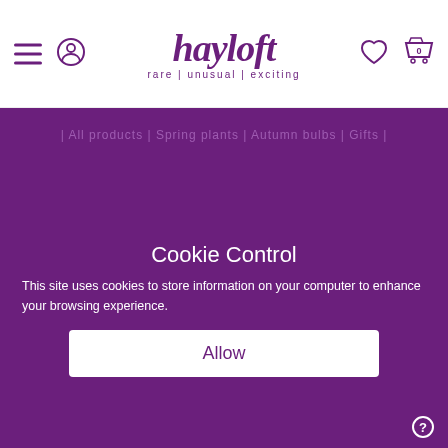[Figure (screenshot): Hayloft website header with hamburger menu, user icon, hayloft logo with tagline 'rare | unusual | exciting', heart/wishlist icon, and basket icon with 0 count]
[Figure (screenshot): Purple banner with faint navigation text]
[Figure (other): Trustpilot 5-star rating with 5 green star boxes]
Im 85 you know and I have been...
Im 85 you know and I have been purchasing plants from Hayloft since I was a child. Al...
Jenny Taydia, 8 hours ago
Cookie Control
This site uses cookies to store information on your computer to enhance your browsing experience.
Allow